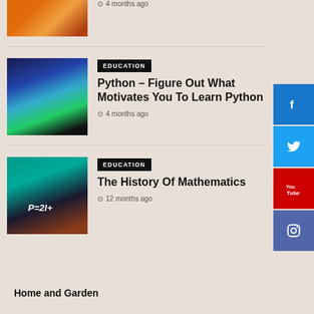4 months ago
[Figure (photo): Abstract light streaks image (partial, top cropped)]
EDUCATION
Python – Figure Out What Motivates You To Learn Python
4 months ago
[Figure (photo): Person with digital data overlay, technology themed]
EDUCATION
The History Of Mathematics
12 months ago
[Figure (photo): Chalkboard with math formula P=2l+, person holding books]
Home and Garden
[Figure (infographic): Social media sidebar with Facebook, Twitter, YouTube, Instagram buttons]